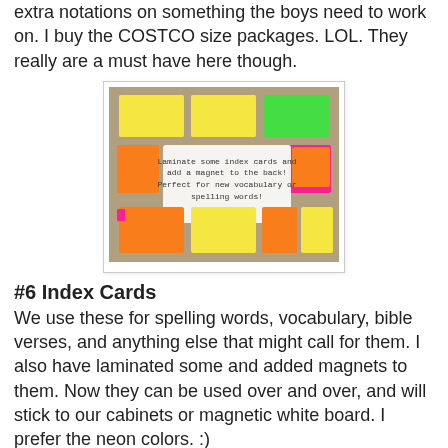extra notations on something the boys need to work on. I buy the COSTCO size packages. LOL. They really are a must have here though.
[Figure (photo): Photo of laminated colorful index cards (yellow, orange, green, pink) arranged on a surface with a text overlay: 'Laminate some index cards and add a magnet to the back! Perfect for new vocabulary or spelling words!']
#6 Index Cards
We use these for spelling words, vocabulary, bible verses, and anything else that might call for them. I also have laminated some and added magnets to them. Now they can be used over and over, and will stick to our cabinets or magnetic white board. I prefer the neon colors. :)
#7 Art Supplies
Now if you are only doing middle school/high school, this one might not be anywhere on your must have list. But with elementary ages, it really is. Even if I myself am not artsy, a